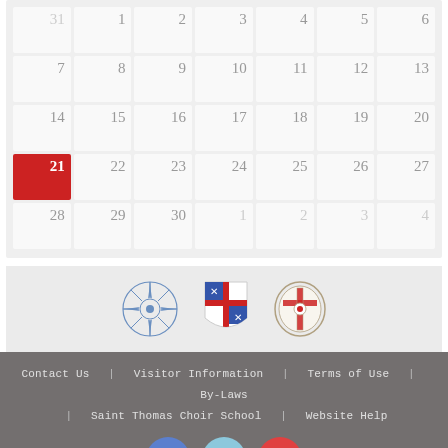| 31 | 1 | 2 | 3 | 4 | 5 | 6 |
| 7 | 8 | 9 | 10 | 11 | 12 | 13 |
| 14 | 15 | 16 | 17 | 18 | 19 | 20 |
| 21 | 22 | 23 | 24 | 25 | 26 | 27 |
| 28 | 29 | 30 | 1 | 2 | 3 | 4 |
[Figure (logo): Three logos: compass/star logo, Episcopal Church shield (red, white, blue cross), and a circular bishop's seal]
Contact Us | Visitor Information | Terms of Use | By-Laws | Saint Thomas Choir School | Website Help
[Figure (infographic): Social media icons: Facebook (blue circle), Twitter (light blue circle), YouTube (red circle)]
©2019 Saint Thomas Church | Website by Birdhive Development & Design